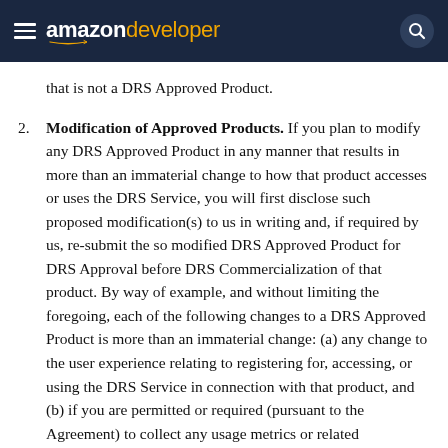amazon developer
that is not a DRS Approved Product.
2. Modification of Approved Products. If you plan to modify any DRS Approved Product in any manner that results in more than an immaterial change to how that product accesses or uses the DRS Service, you will first disclose such proposed modification(s) to us in writing and, if required by us, re-submit the so modified DRS Approved Product for DRS Approval before DRS Commercialization of that product. By way of example, and without limiting the foregoing, each of the following changes to a DRS Approved Product is more than an immaterial change: (a) any change to the user experience relating to registering for, accessing, or using the DRS Service in connection with that product, and (b) if you are permitted or required (pursuant to the Agreement) to collect any usage metrics or related